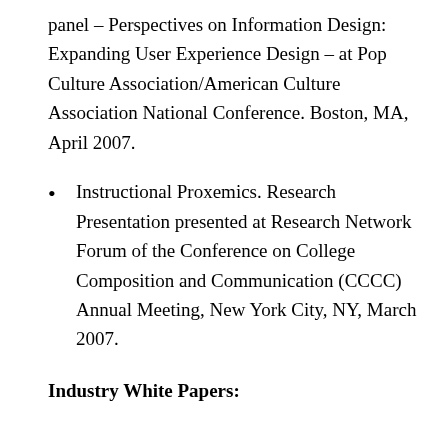panel – Perspectives on Information Design: Expanding User Experience Design – at Pop Culture Association/American Culture Association National Conference. Boston, MA, April 2007.
Instructional Proxemics. Research Presentation presented at Research Network Forum of the Conference on College Composition and Communication (CCCC) Annual Meeting, New York City, NY, March 2007.
Industry White Papers: